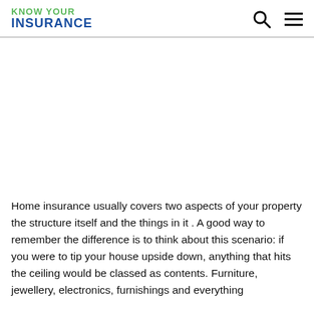KNOW YOUR INSURANCE
Home insurance usually covers two aspects of your property the structure itself and the things in it . A good way to remember the difference is to think about this scenario: if you were to tip your house upside down, anything that hits the ceiling would be classed as contents. Furniture, jewellery, electronics, furnishings and everything